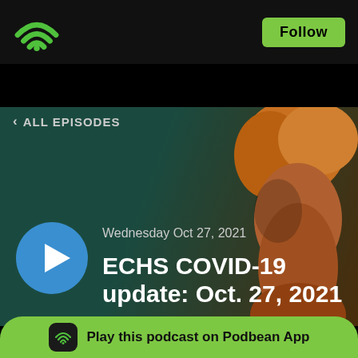[Figure (screenshot): Podbean podcast app header with green WiFi logo on left and green Follow button on top right]
ALL EPISODES
Wednesday Oct 27, 2021
ECHS COVID-19 update: Oct. 27, 2021
Play this podcast on Podbean App